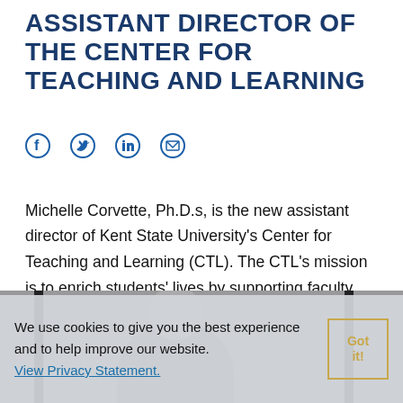ASSISTANT DIRECTOR OF THE CENTER FOR TEACHING AND LEARNING
[Figure (infographic): Social media share icons: Facebook, Twitter, LinkedIn, Email]
Michelle Corvette, Ph.D.s, is the new assistant director of Kent State University's Center for Teaching and Learning (CTL). The CTL's mission is to enrich students' lives by supporting faculty members with evidence-based, student-focused and innovative teaching and learning measures. Corvette is excited about providing support to Kent State faculty across all of the Kent State campuses.
We use cookies to give you the best experience and to help improve our website. View Privacy Statement.
[Figure (photo): Black and white photo of a woman (Michelle Corvette) partially visible at the bottom of the page, with vertical dark bars suggesting a window or door frame in the background]